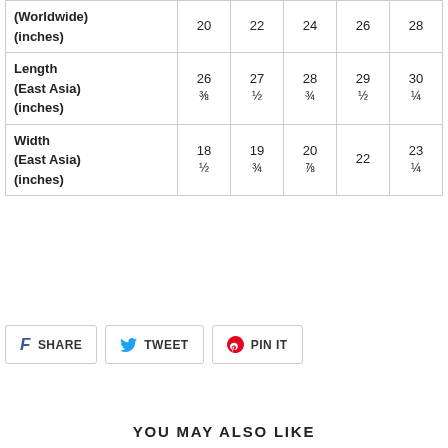|  | 20 | 22 | 24 | 26 | 28 |
| --- | --- | --- | --- | --- | --- |
| (Worldwide) (inches) | 20 | 22 | 24 | 26 | 28 |
| Length (East Asia) (inches) | 26 ⅜ | 27 ½ | 28 ¾ | 29 ½ | 30 ¼ |
| Width (East Asia) (inches) | 18 ½ | 19 ¾ | 20 ⅞ | 22 | 23 ¼ |
SHARE   TWEET   PIN IT
YOU MAY ALSO LIKE